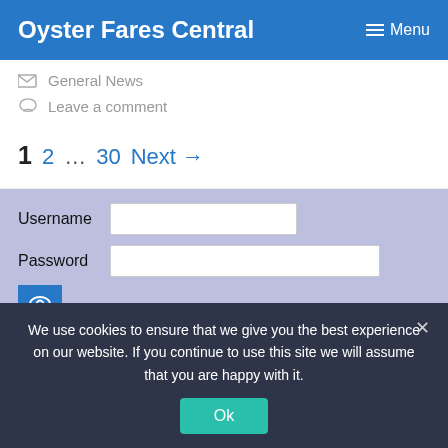Oyster Fares Central   ≡ Menu
General News
Leave a comment
1  2  ...  30  Next →
Username  Password  Remember Me
We use cookies to ensure that we give you the best experience on our website. If you continue to use this site we will assume that you are happy with it.  Ok